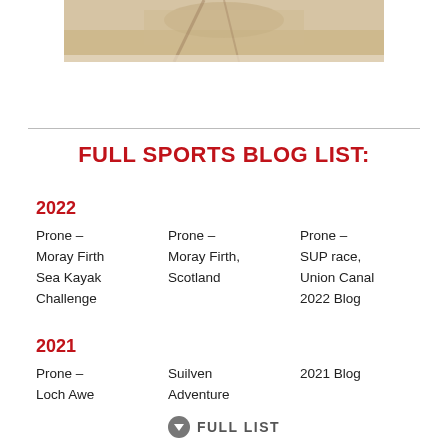[Figure (photo): Partial photo of a person on water/beach, cropped at top]
FULL SPORTS BLOG LIST:
2022
Prone – Moray Firth Sea Kayak Challenge
Prone – Moray Firth, Scotland
Prone – SUP race, Union Canal 2022 Blog
2021
Prone – Loch Awe
Suilven Adventure
2021 Blog
FULL LIST